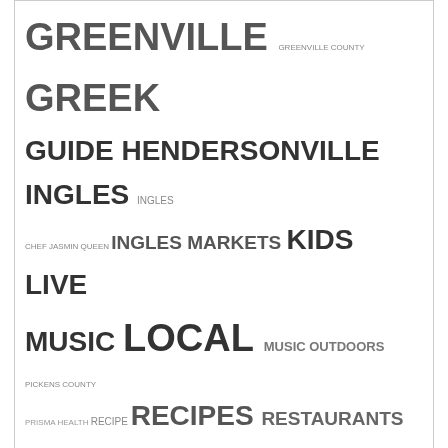GREENVILLE GREENVILLE COUNTY GREEK GUIDE HENDERSONVILLE INGLES INGLES CHEF JASMIN QUEEN INGLES MARKETS KIDS LIVE MUSIC LOCAL MUSIC OUTDOORS PICKENS COUNTY PRISMA HEALTH RECIPE RECIPES RESTAURANTS SPARTANBURG SPARTANBURG COUNTY SPORTS THE INGLES TABLE THINGS TO DO TRAVEL UPSTATE ARTISTS
Write a Story on Livin' Upstate
Here are some stories written by other fans of Livin' Upstate.
Rebuild Upstate welcomes Jake Beaty as CEO
Rebuild Upstate receives $100,000 grant from Greenville Women Giving